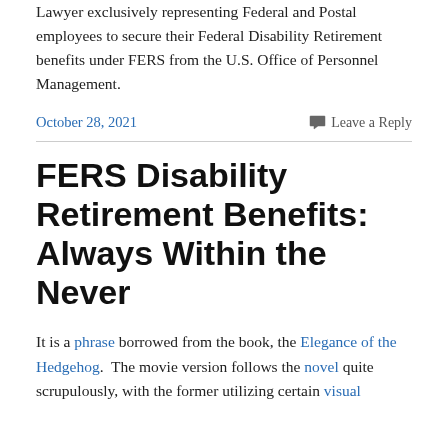Lawyer exclusively representing Federal and Postal employees to secure their Federal Disability Retirement benefits under FERS from the U.S. Office of Personnel Management.
October 28, 2021
Leave a Reply
FERS Disability Retirement Benefits: Always Within the Never
It is a phrase borrowed from the book, the Elegance of the Hedgehog.  The movie version follows the novel quite scrupulously, with the former utilizing certain visual